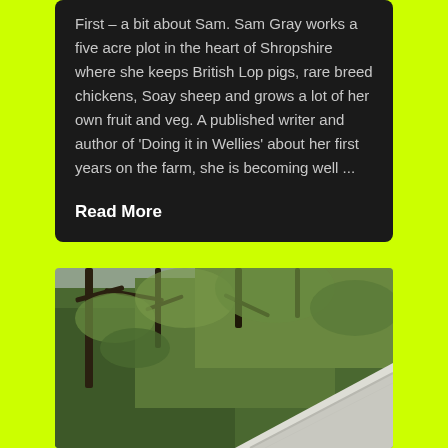First – a bit about Sam. Sam Gray works a five acre plot in the heart of Shropshire where she keeps British Lop pigs, rare breed chickens, Soay sheep and grows a lot of her own fruit and veg.  A published writer and author of 'Doing it in Wellies' about her first years on the farm, she is becoming well ...
Read More
[Figure (photo): Photo of trees with bare and leafy branches against a grey sky, with a white fabric or tent visible at the lower right corner.]